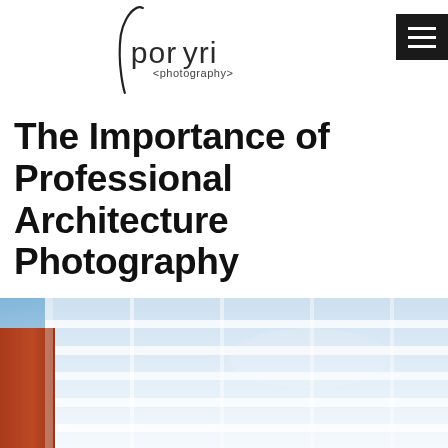porfyri <photography>
The Importance of Professional Architecture Photography
[Figure (photo): Architectural photograph showing a modern building facade with horizontal white bands/stripes against a blue sky, viewed from a low angle. A red/orange building element is visible at lower left.]